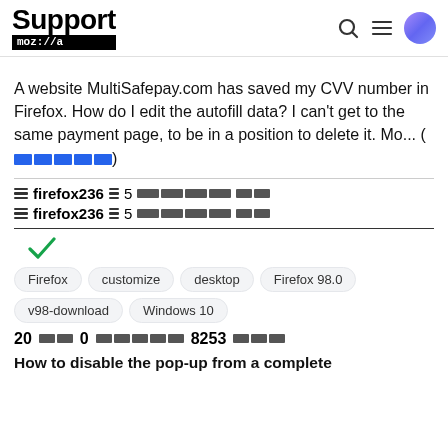Support moz://a
A website MultiSafepay.com has saved my CVV number in Firefox. How do I edit the autofill data? I can't get to the same payment page, to be in a position to delete it. Mo... (more)
firefox236 5 [redacted]
firefox236 5 [redacted]
[Figure (other): Green checkmark indicating accepted/solved answer]
Firefox  customize  desktop  Firefox 98.0  v98-download  Windows 10
20 [redacted] 0 [redacted] 8253 [redacted]
How to disable the pop-up from a complete